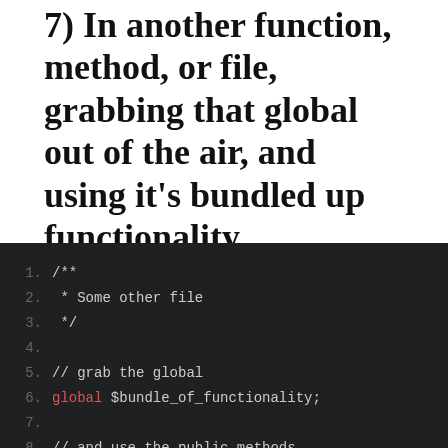7) In another function, method, or file, grabbing that global out of the air, and using it's bundled up functionality.
Let's grab that object and make it 'do stuff' (get it?). To use this method now, you'll replace the $this keyword with our variable: $bundle_of_functionality->&gt;mymethod() .
[Figure (screenshot): Dark-themed code editor block showing PHP code lines 1-8. Line 1: /**, Line 2: * Some other file, Line 3: */, Line 4: (blank), Line 5: // grab the global, Line 6: global $bundle_of_functionality;, Line 7: (blank), Line 8: // and use the public methods]